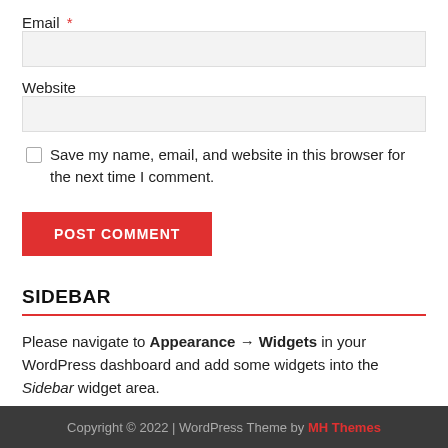Email *
Website
Save my name, email, and website in this browser for the next time I comment.
POST COMMENT
SIDEBAR
Please navigate to Appearance → Widgets in your WordPress dashboard and add some widgets into the Sidebar widget area.
Copyright © 2022 | WordPress Theme by MH Themes